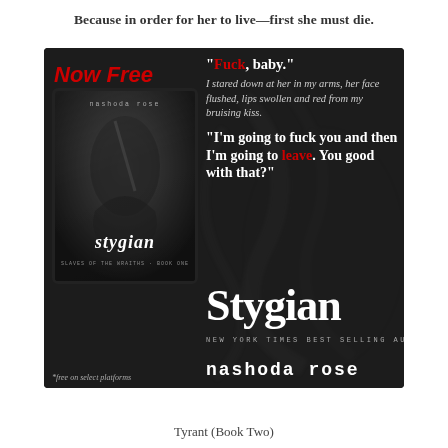Because in order for her to live—first she must die.
[Figure (illustration): Book promotional image for 'Stygian' by Nashoda Rose. Dark background with tattoo-art motifs. Left side shows 'Now Free' in red italic text above a tablet/book cover mockup showing the book cover for 'stygian' by nashoda rose. Right side shows a bold quote: '"Fuck, baby."' with 'Fuck' in red, followed by italic body text 'I stared down at her in my arms, her face flushed, lips swollen and red from my bruising kiss.' then bold quote '"I'm going to fuck you and then I'm going to leave. You good with that?"' with 'leave' in red. Bottom right shows large 'Stygian' title text, 'New York Times Best Selling Author' in small caps, and 'nashoda Rose' in monospace. Bottom left has '*free on select platforms' note.]
Tyrant (Book Two)